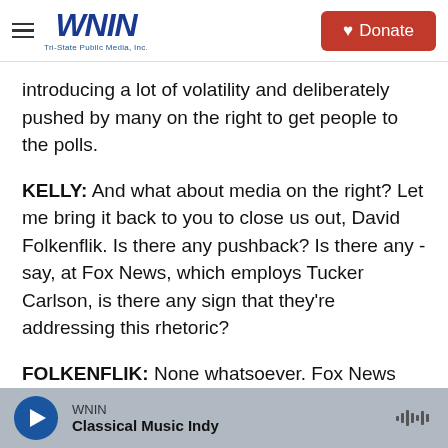WNIN Tri-State Public Media, Inc. | Donate
introducing a lot of volatility and deliberately pushed by many on the right to get people to the polls.
KELLY: And what about media on the right? Let me bring it back to you to close us out, David Folkenflik. Is there any pushback? Is there any - say, at Fox News, which employs Tucker Carlson, is there any sign that they're addressing this rhetoric?
FOLKENFLIK: None whatsoever. Fox News almost invariably - and again, in this case today - doesn't comment, just points you to what Carlson has had
WNIN | Classical Music Indy